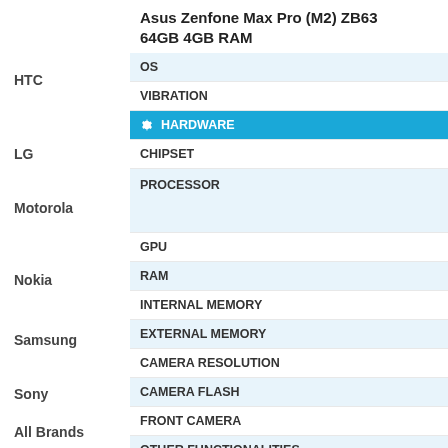Asus Zenfone Max Pro (M2) ZB63 64GB 4GB RAM
HTC
LG
Motorola
Nokia
Samsung
Sony
All Brands
OS
VIBRATION
HARDWARE
CHIPSET
PROCESSOR
GPU
RAM
INTERNAL MEMORY
EXTERNAL MEMORY
CAMERA RESOLUTION
CAMERA FLASH
FRONT CAMERA
OTHER FUNCTIONALITIES